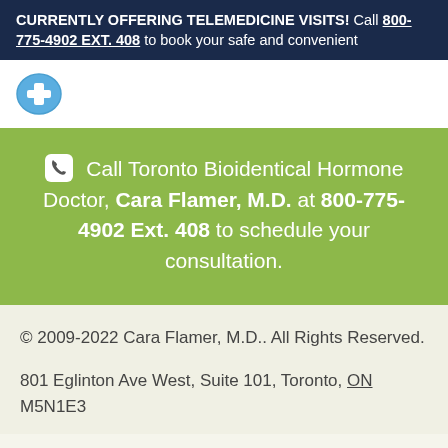CURRENTLY OFFERING TELEMEDICINE VISITS! Call 800-775-4902 EXT. 408 to book your safe and convenient
[Figure (logo): Blue circular logo icon for Toronto Bioidentical Hormone clinic]
Call Toronto Bioidentical Hormone Doctor, Cara Flamer, M.D. at 800-775-4902 Ext. 408 to schedule your consultation.
© 2009-2022 Cara Flamer, M.D.. All Rights Reserved.
801 Eglinton Ave West, Suite 101, Toronto, ON M5N1E3